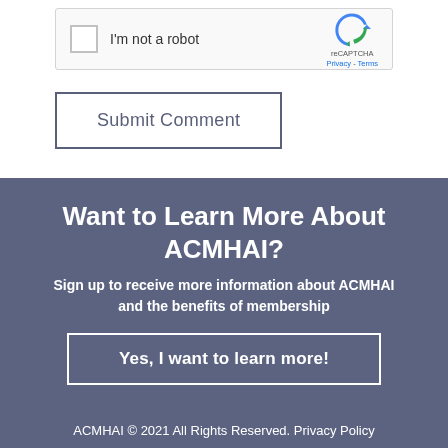[Figure (screenshot): reCAPTCHA widget with checkbox labeled 'I'm not a robot' and reCAPTCHA logo with Privacy and Terms links]
Submit Comment
Want to Learn More About ACMHAI?
Sign up to receive more information about ACMHAI and the benefits of membership
Yes, I want to learn more!
ACMHAI © 2021 All Rights Reserved. Privacy Policy